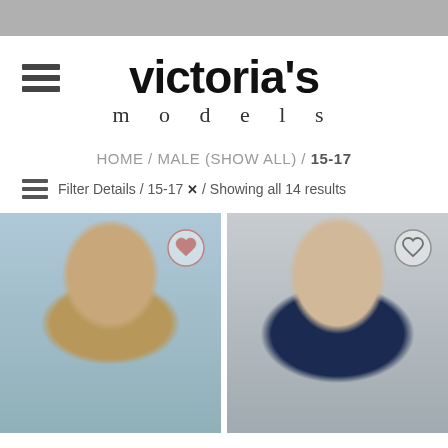victoria's models
HOME / MALE (SHOW ALL) / 15-17
Filter Details / 15-17 × / Showing all 14 results
[Figure (photo): Headshot of a smiling young male model with curly dark hair, wearing a dark patterned shirt, against a grey-blue background. A heart/wishlist icon appears in the upper right corner of the image.]
[Figure (photo): Headshot of a young male model with short brown hair, wearing a navy suit with a tie, against a blurred urban background. A heart/wishlist icon appears in the upper right corner of the image.]